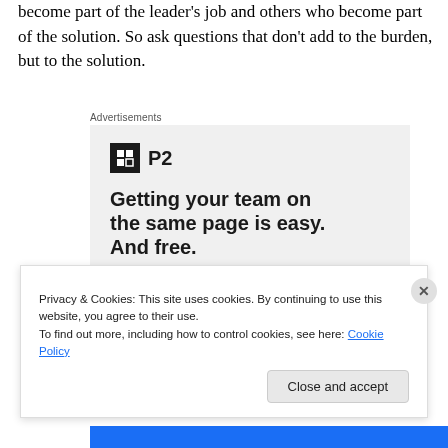become part of the leader's job and others who become part of the solution. So ask questions that don't add to the burden, but to the solution.
Advertisements
[Figure (screenshot): Advertisement for P2 app. Logo with black square icon and 'P2' text. Headline: 'Getting your team on the same page is easy. And free.' Shows circular avatar images of team members.]
Privacy & Cookies: This site uses cookies. By continuing to use this website, you agree to their use.
To find out more, including how to control cookies, see here: Cookie Policy
Close and accept